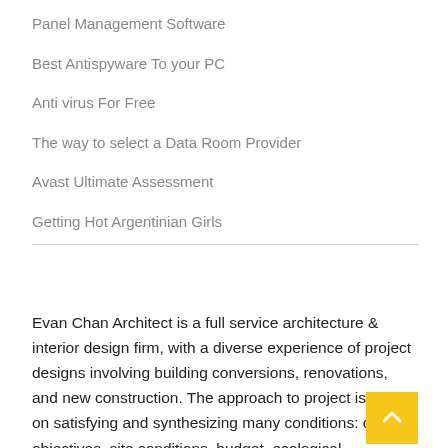Panel Management Software
Best Antispyware To your PC
Anti virus For Free
The way to select a Data Room Provider
Avast Ultimate Assessment
Getting Hot Argentinian Girls
Evan Chan Architect is a full service architecture & interior design firm, with a diverse experience of project designs involving building conversions, renovations, and new construction. The approach to project is based on satisfying and synthesizing many conditions: client objectives, site conditions, budget, ecological soundness and aesthetic